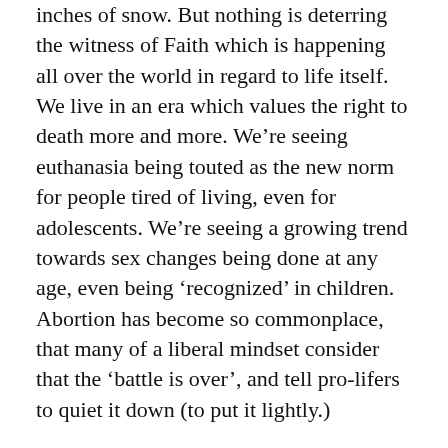inches of snow. But nothing is deterring the witness of Faith which is happening all over the world in regard to life itself. We live in an era which values the right to death more and more. We're seeing euthanasia being touted as the new norm for people tired of living, even for adolescents. We're seeing a growing trend towards sex changes being done at any age, even being 'recognized' in children. Abortion has become so commonplace, that many of a liberal mindset consider that the 'battle is over', and tell pro-lifers to quiet it down (to put it lightly.)
But, given the great treasure of knowledge and reason which we have in our Faith, we can never pipe down, and we can never quiet